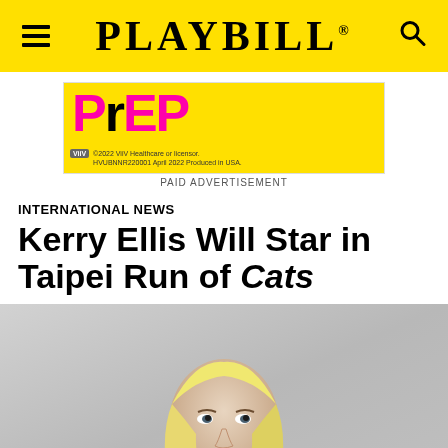PLAYBILL
[Figure (illustration): Yellow advertisement banner for PrEP. Large pink/magenta stylized 'PrEP' text with black 'r'. Bottom left: ViiV logo with text '©2022 ViiV Healthcare or licensor. HVUBNNR220001 April 2022 Produced in USA.' Caption below: PAID ADVERTISEMENT]
PAID ADVERTISEMENT
INTERNATIONAL NEWS
Kerry Ellis Will Star in Taipei Run of Cats
[Figure (photo): Headshot photo of a blonde woman in a black top against a grey background, looking slightly to the left. The woman has shoulder-length blonde hair, defined features, and is wearing a dark/black top.]